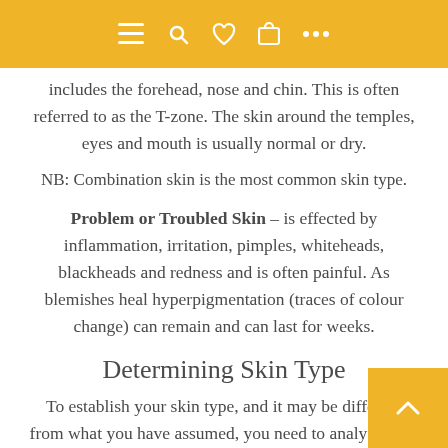[Figure (screenshot): Golden/yellow navigation top bar with hamburger menu, search, heart/wishlist, shopping bag, and ellipsis icons in white]
includes the forehead, nose and chin. This is often referred to as the T-zone. The skin around the temples, eyes and mouth is usually normal or dry.
NB: Combination skin is the most common skin type.
Problem or Troubled Skin – is effected by inflammation, irritation, pimples, whiteheads, blackheads and redness and is often painful. As blemishes heal hyperpigmentation (traces of colour change) can remain and can last for weeks.
Determining Skin Type
To establish your skin type, and it may be different from what you have assumed, you need to analyse your skin wh... clean and free of make up. To get a true picture you not do this immediately after washing your face. Instead wait